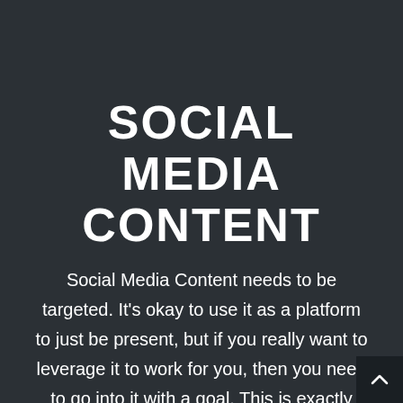SOCIAL MEDIA CONTENT
Social Media Content needs to be targeted. It's okay to use it as a platform to just be present, but if you really want to leverage it to work for you, then you need to go into it with a goal. This is exactly what we did when we created this short video for Via